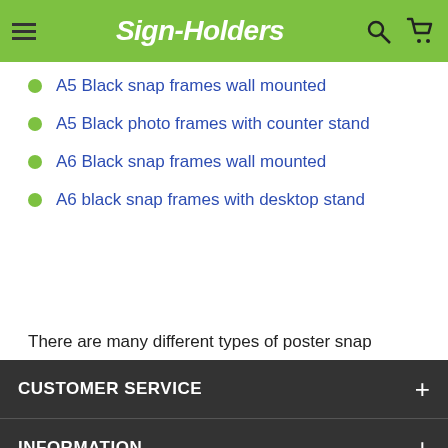Sign-Holders
A5 Black snap frames wall mounted
A5 Black photo frames with counter stand
A6 Black snap frames wall mounted
A6 black snap frames with desktop stand
There are many different types of poster snap frames. To see all types click the blue link  Full snap frame range.
CUSTOMER SERVICE | INFORMATION | VIEW OUR